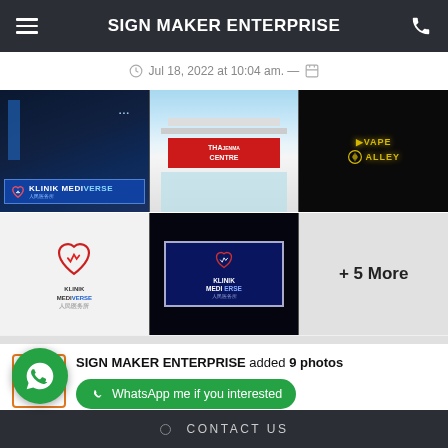SIGN MAKER ENTERPRISE
Jul 18, 2022 at 10:04 am.
[Figure (photo): Photo grid showing 6 sign-making photos: Klinik MediVerse LED sign, Thai... centre red banner building, Vape Alley dark signage, Klinik MediVerse wall logo, Klinik MediVerse LED box display, plus tile showing '+5 More']
SIGN MAKER ENTERPRISE added 9 photos
WhatsApp me if you interested
Jun 28, 2022 at 08:14 pm.
CONTACT US